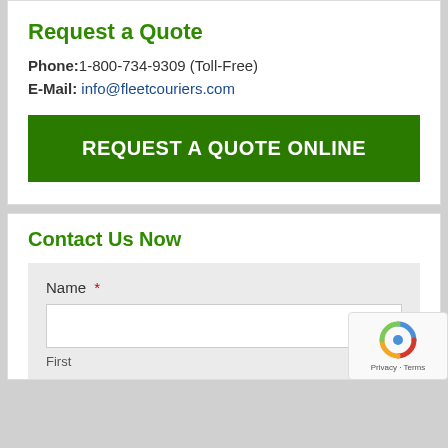Request a Quote
Phone: 1-800-734-9309 (Toll-Free)
E-Mail: info@fleetcouriers.com
REQUEST A QUOTE ONLINE
Contact Us Now
Name *
First